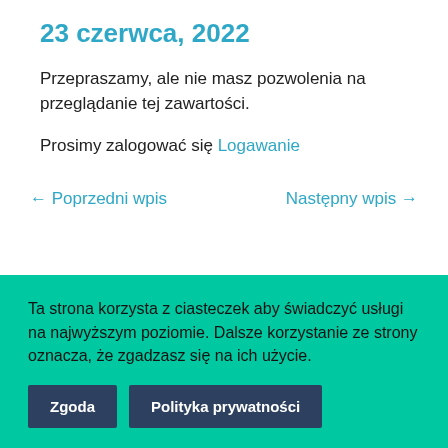23 czerwca, 2022
Przepraszamy, ale nie masz pozwolenia na przeglądanie tej zawartości.
Prosimy zalogować się Logawanie
← Poprzedni wpis    Następny wpis →
Ta strona korzysta z ciasteczek aby świadczyć usługi na najwyższym poziomie. Dalsze korzystanie ze strony oznacza, że zgadzasz się na ich użycie.
Zgoda    Polityka prywatności